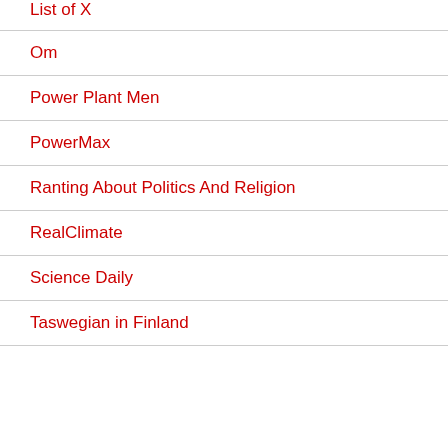List of X
Om
Power Plant Men
PowerMax
Ranting About Politics And Religion
RealClimate
Science Daily
Taswegian in Finland